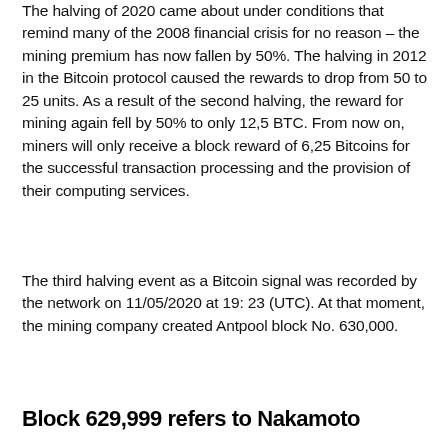The halving of 2020 came about under conditions that remind many of the 2008 financial crisis for no reason – the mining premium has now fallen by 50%. The halving in 2012 in the Bitcoin protocol caused the rewards to drop from 50 to 25 units. As a result of the second halving, the reward for mining again fell by 50% to only 12,5 BTC. From now on, miners will only receive a block reward of 6,25 Bitcoins for the successful transaction processing and the provision of their computing services.
The third halving event as a Bitcoin signal was recorded by the network on 11/05/2020 at 19: 23 (UTC). At that moment, the mining company created Antpool block No. 630,000.
Block 629,999 refers to Nakamoto